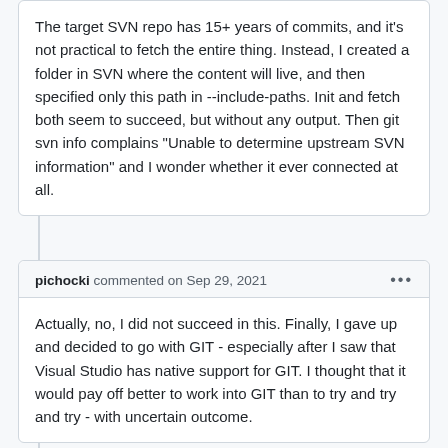The target SVN repo has 15+ years of commits, and it's not practical to fetch the entire thing. Instead, I created a folder in SVN where the content will live, and then specified only this path in --include-paths. Init and fetch both seem to succeed, but without any output. Then git svn info complains "Unable to determine upstream SVN information" and I wonder whether it ever connected at all.
pichocki commented on Sep 29, 2021
Actually, no, I did not succeed in this. Finally, I gave up and decided to go with GIT - especially after I saw that Visual Studio has native support for GIT. I thought that it would pay off better to work into GIT than to try and try and try - with uncertain outcome.
tsangsir commented on Jun 16